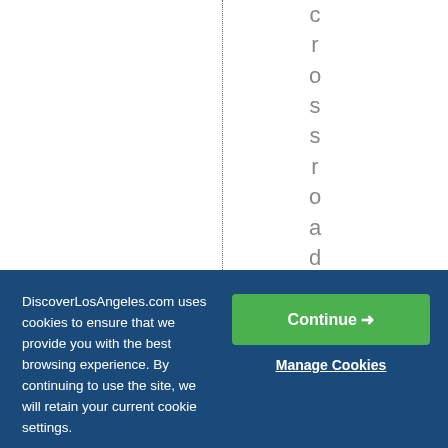[Figure (screenshot): White area with a vertical dotted line and vertically stacked letters spelling 'crossroadsofWestw' running top to bottom on the right half of the page]
DiscoverLosAngeles.com uses cookies to ensure that we provide you with the best browsing experience. By continuing to use the site, we will retain your current cookie settings.
Continue →
Manage Cookies